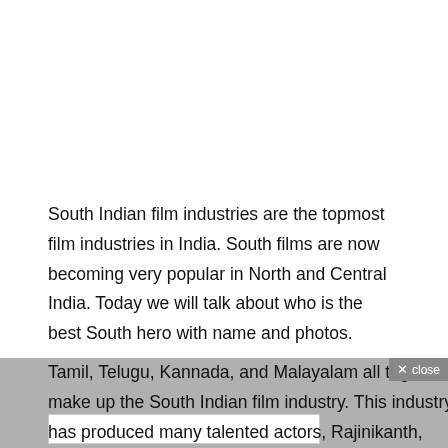South Indian film industries are the topmost film industries in India. South films are now becoming very popular in North and Central India. Today we will talk about who is the best South hero with name and photos.
Tamil, Telugu, Kannada, and Malayalam all together make up the South Indian film industry. This industry has produced many talented actors, Rajinikanth, Chiranjeevi, Manmuthi, Nagarjuna, Venkatesh, and many more.